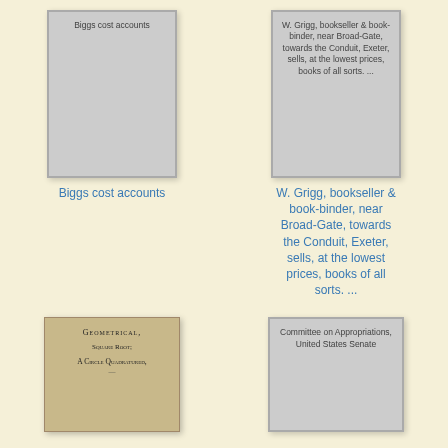[Figure (illustration): Gray book card thumbnail with text 'Biggs cost accounts']
Biggs cost accounts
[Figure (illustration): Gray book card thumbnail with text 'W. Grigg, bookseller & book-binder, near Broad-Gate, towards the Conduit, Exeter, sells, at the lowest prices, books of all sorts. ...']
W. Grigg, bookseller & book-binder, near Broad-Gate, towards the Conduit, Exeter, sells, at the lowest prices, books of all sorts. ...
[Figure (photo): Old book cover page showing 'GEOMETRICAL, Square Root; A CIRCLE QUADRATURED, ...']
[Figure (illustration): Gray book card thumbnail with text 'Committee on Appropriations, United States Senate']